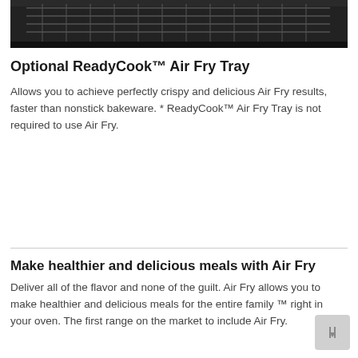[Figure (photo): Interior of an oven showing the dark metal rack and oven cavity from above/front angle]
Optional ReadyCook™ Air Fry Tray
Allows you to achieve perfectly crispy and delicious Air Fry results, faster than nonstick bakeware. * ReadyCook™ Air Fry Tray is not required to use Air Fry.
Make healthier and delicious meals with Air Fry
Deliver all of the flavor and none of the guilt. Air Fry allows you to make healthier and delicious meals for the entire family ™ right in your oven. The first range on the market to include Air Fry.